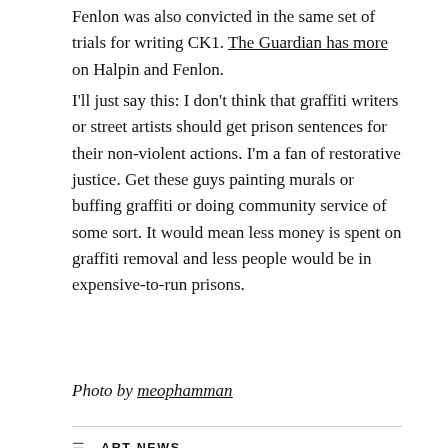Fenlon was also convicted in the same set of trials for writing CK1. The Guardian has more on Halpin and Fenlon.
I'll just say this: I don't think that graffiti writers or street artists should get prison sentences for their non-violent actions. I'm a fan of restorative justice. Get these guys painting murals or buffing graffiti or doing community service of some sort. It would mean less money is spent on graffiti removal and less people would be in expensive-to-run prisons.
Photo by meophamman
ART NEWS
BEN EINE , CK1 , REVOK , TOX